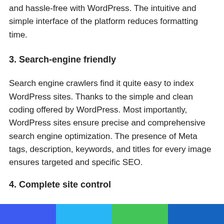and hassle-free with WordPress. The intuitive and simple interface of the platform reduces formatting time.
3. Search-engine friendly
Search engine crawlers find it quite easy to index WordPress sites. Thanks to the simple and clean coding offered by WordPress. Most importantly, WordPress sites ensure precise and comprehensive search engine optimization. The presence of Meta tags, description, keywords, and titles for every image ensures targeted and specific SEO.
4. Complete site control
With WordPress CMS solutions, you will gain the opportunity to perform regular updates on your site. WordPress offers